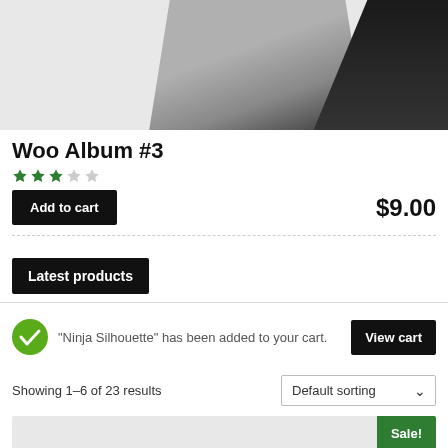[Figure (photo): Partial product image of Woo Album #3 showing a gray and black object on a light gray background]
Woo Album #3
3 out of 5 stars rating
Add to cart   $9.00
Latest products
"Ninja Silhouette" has been added to your cart.
View cart
Showing 1–6 of 23 results
Default sorting
[Figure (photo): Bottom of page product preview with Sale! badge in green]